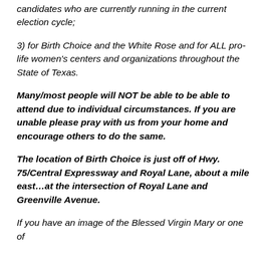candidates who are currently running in the current election cycle;
3) for Birth Choice and the White Rose and for ALL pro-life women's centers and organizations throughout the State of Texas.
Many/most people will NOT be able to be able to attend due to individual circumstances. If you are unable please pray with us from your home and encourage others to do the same.
The location of Birth Choice is just off of Hwy. 75/Central Expressway and Royal Lane, about a mile east…at the intersection of Royal Lane and Greenville Avenue.
If you have an image of the Blessed Virgin Mary or one of